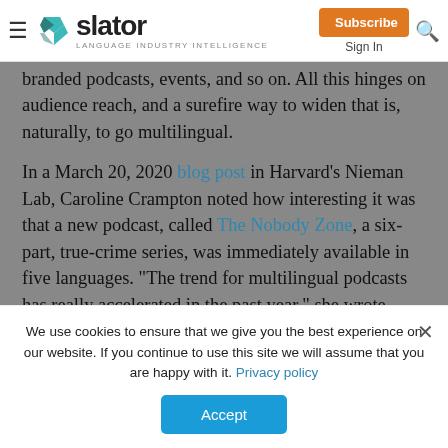slator — Language Industry Intelligence | Subscribe | Sign In
branded podcasts, events, and so on. All this hinges on audience reach, and a surefire way to widen that is, naturally, to go multilingual.
In a March 20, 2020 blog post in Harvard's Nieman Lab, Caroline Crampton noted how interesting it was that a new podcast, called The Nobody Zone, a six-part, true-crime series, was immediately available in five languages. "The trend for multilingual podcasts has really accelerated in the past year," she wrote, adding that two big US publishers,
We use cookies to ensure that we give you the best experience on our website. If you continue to use this site we will assume that you are happy with it. Privacy policy
Accept